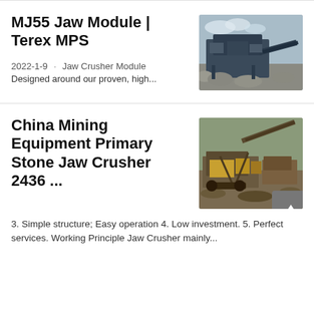MJ55 Jaw Module | Terex MPS
2022-1-9 · Jaw Crusher Module Designed around our proven, high...
[Figure (photo): Photo of a large blue jaw crusher module machine in a quarry/outdoor setting]
China Mining Equipment Primary Stone Jaw Crusher 2436 ...
[Figure (photo): Aerial photo of heavy mining jaw crusher equipment in an open-pit setting]
3. Simple structure; Easy operation 4. Low investment. 5. Perfect services. Working Principle Jaw Crusher mainly...